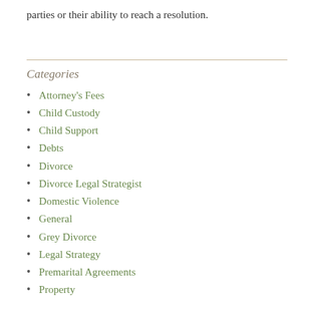parties or their ability to reach a resolution.
Categories
Attorney's Fees
Child Custody
Child Support
Debts
Divorce
Divorce Legal Strategist
Domestic Violence
General
Grey Divorce
Legal Strategy
Premarital Agreements
Property